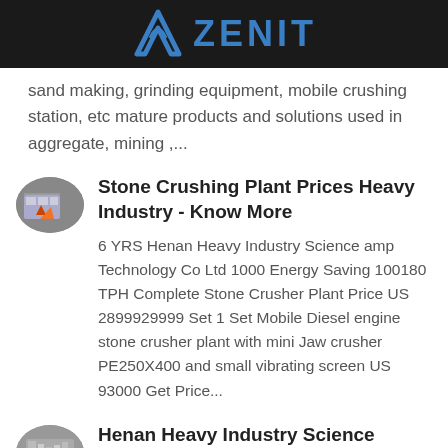ZENIT
sand making, grinding equipment, mobile crushing station, etc mature products and solutions used in aggregate, mining ,...
Stone Crushing Plant Prices Heavy Industry - Know More
6 YRS Henan Heavy Industry Science amp Technology Co Ltd 1000 Energy Saving 100180 TPH Complete Stone Crusher Plant Price US 2899929999 Set 1 Set Mobile Diesel engine stone crusher plant with mini Jaw crusher PE250X400 and small vibrating screen US 93000 Get Price...
Henan Heavy Industry Science